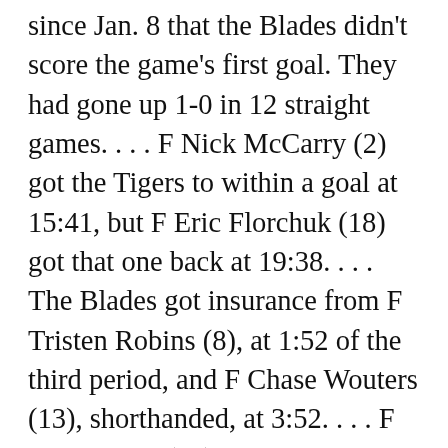since Jan. 8 that the Blades didn't score the game's first goal. They had gone up 1-0 in 12 straight games. . . . F Nick McCarry (2) got the Tigers to within a goal at 15:41, but F Eric Florchuk (18) got that one back at 19:38. . . . The Blades got insurance from F Tristen Robins (8), at 1:52 of the third period, and F Chase Wouters (13), shorthanded, at 3:52. . . . F Ryan Jevne (14) scored Medicine Hat's last goal, on a PP, at 16:22. . . . Saskatoon D Dawson Davidson had three assists. Davidson is riding a 14-game point streak, with 24 points in that time. . . . Davidson has 64 points, 54 of them assists, in 56 games. His 54 assists are second in the WHL to F Trey Fix-Wolansky of the Edmonton Oil Kings. . . . The Blades scratched F Kirby Dach for this last night, as a matter of the